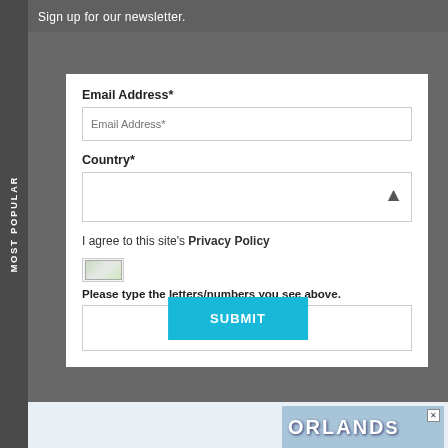Sign up for our newsletter.
Email Address*
Country*
I agree to this site's Privacy Policy
[Figure (illustration): Broken/missing image icon (small green and white rectangle placeholder)]
Please type the letters/numbers you see above.
SUBMIT
MOST POPULAR
[Figure (illustration): Advertisement banner showing 'ORLANDS' text in white letters on a blue/sky background, with a small close X button]